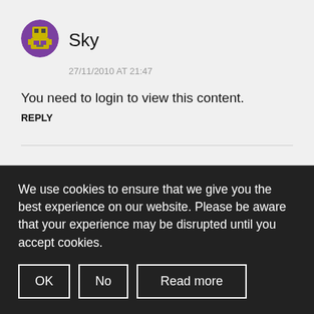[Figure (illustration): Pixel-art robot avatar icon for user Sky, circular purple background]
Sky
27/11/2010 AT 21:47
You need to login to view this content.
REPLY
[Figure (illustration): Pixel-art robot avatar icon for user Marin, circular blue/pink background]
Marin
We use cookies to ensure that we give you the best experience on our website. Please be aware that your experience may be disrupted until you accept cookies.
OK
No
Read more